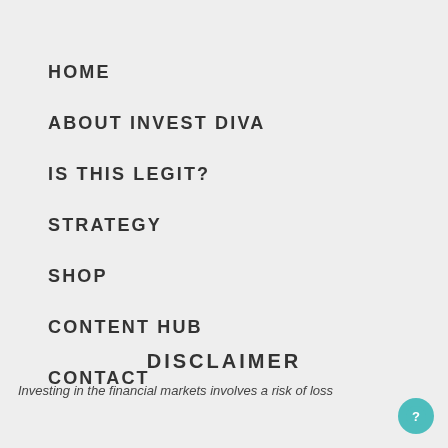HOME
ABOUT INVEST DIVA
IS THIS LEGIT?
STRATEGY
SHOP
CONTENT HUB
CONTACT
DISCLAIMER
Investing in the financial markets involves a risk of loss